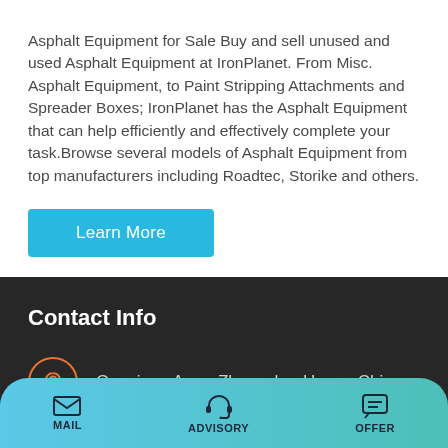Asphalt Equipment for Sale Buy and sell unused and used Asphalt Equipment at IronPlanet. From Misc. Asphalt Equipment, to Paint Stripping Attachments and Spreader Boxes; IronPlanet has the Asphalt Equipment that can help efficiently and effectively complete your task.Browse several models of Asphalt Equipment from top manufacturers including Roadtec, Storike and others.
[Figure (other): Learn More button - cyan/blue colored rectangular button]
Contact Info
Gaoxinqu Area, ZhengzhouHenan China
MAIL   ADVISORY   OFFER